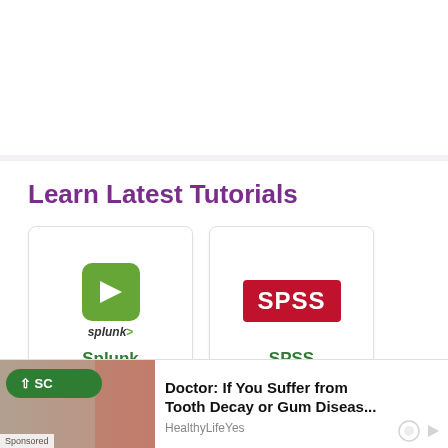Learn Latest Tutorials
[Figure (logo): Splunk logo card — green arrow icon with splunk> wordmark, labeled Splunk in green]
[Figure (logo): SPSS logo card — red rectangle with white SPSS text, labeled SPSS in green]
[Figure (other): Partially visible card row below]
Doctor: If You Suffer from Tooth Decay or Gum Diseas...
HealthyLifeYes
Sponsored